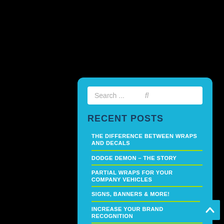Search ...
RECENT POSTS
THE DIFFERENCE BETWEEN WRAPS AND DECALS
DODGE DEMON – THE STORY
PARTIAL WRAPS FOR YOUR COMPANY VEHICLES
SIGNS, BANNERS & MORE!
INCREASE YOUR BRAND RECOGNITION
ARCHIVES
AUGUST 2018